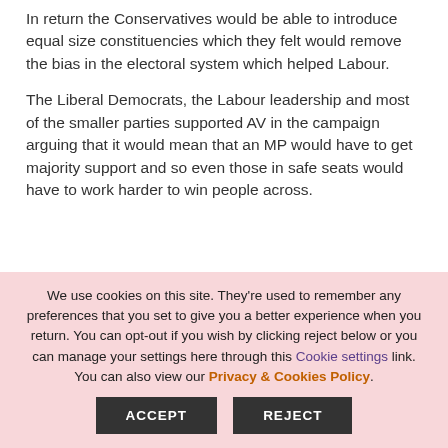In return the Conservatives would be able to introduce equal size constituencies which they felt would remove the bias in the electoral system which helped Labour.
The Liberal Democrats, the Labour leadership and most of the smaller parties supported AV in the campaign arguing that it would mean that an MP would have to get majority support and so even those in safe seats would have to work harder to win people across.
We use cookies on this site. They're used to remember any preferences that you set to give you a better experience when you return. You can opt-out if you wish by clicking reject below or you can manage your settings here through this Cookie settings link. You can also view our Privacy & Cookies Policy.